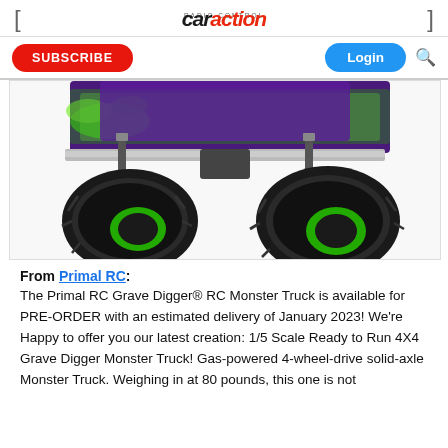Radio Control Car Action
[Figure (photo): Bottom-front view of a Primal RC Grave Digger monster truck RC model showing large black tires with green inner rims and green/purple flame-decorated body]
From Primal RC:
The Primal RC Grave Digger® RC Monster Truck is available for PRE-ORDER with an estimated delivery of January 2023! We're Happy to offer you our latest creation: 1/5 Scale Ready to Run 4X4 Grave Digger Monster Truck! Gas-powered 4-wheel-drive solid-axle Monster Truck. Weighing in at 80 pounds, this one is not